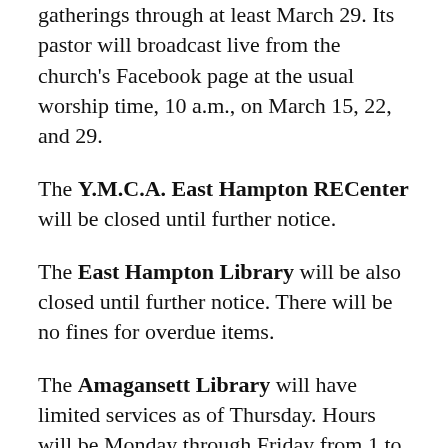gatherings through at least March 29. Its pastor will broadcast live from the church's Facebook page at the usual worship time, 10 a.m., on March 15, 22, and 29.
The Y.M.C.A. East Hampton RECenter will be closed until further notice.
The East Hampton Library will be also closed until further notice. There will be no fines for overdue items.
The Amagansett Library will have limited services as of Thursday. Hours will be Monday through Friday from 1 to 5 p.m. Public computers and meeting spaces will not be available.
The John Jermain Memorial Library in Sag Harbor is closed to the public as of 5...